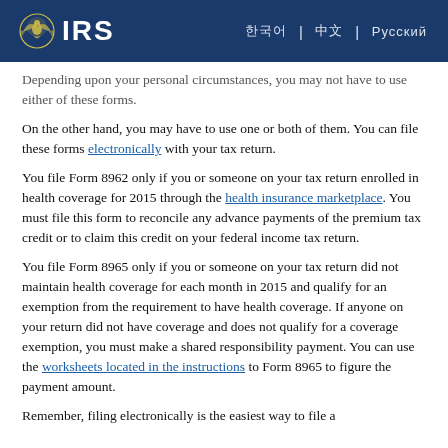IRS logo and navigation links
Depending upon your personal circumstances, you may not have to use either of these forms.
On the other hand, you may have to use one or both of them. You can file these forms electronically with your tax return.
You file Form 8962 only if you or someone on your tax return enrolled in health coverage for 2015 through the health insurance marketplace. You must file this form to reconcile any advance payments of the premium tax credit or to claim this credit on your federal income tax return.
You file Form 8965 only if you or someone on your tax return did not maintain health coverage for each month in 2015 and qualify for an exemption from the requirement to have health coverage. If anyone on your return did not have coverage and does not qualify for a coverage exemption, you must make a shared responsibility payment. You can use the worksheets located in the instructions to Form 8965 to figure the payment amount.
Remember, filing electronically is the easiest way to file a